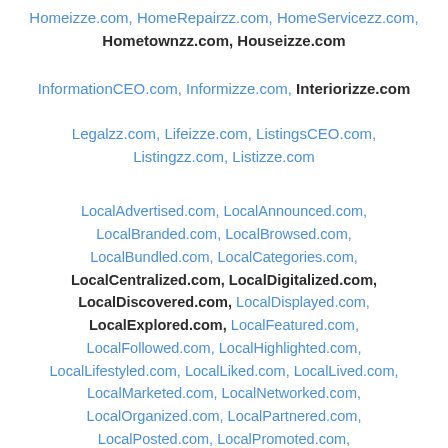Homeizze.com, HomeRepairzz.com, HomeServicezz.com, Hometownzz.com, Houseizze.com
InformationCEO.com, Informizze.com, Interiorizze.com
Legalzz.com, Lifeizze.com, ListingsCEO.com, Listingzz.com, Listizze.com
LocalAdvertised.com, LocalAnnounced.com, LocalBranded.com, LocalBrowsed.com, LocalBundled.com, LocalCategories.com, LocalCentralized.com, LocalDigitalized.com, LocalDiscovered.com, LocalDisplayed.com, LocalExplored.com, LocalFeatured.com, LocalFollowed.com, LocalHighlighted.com, LocalLifestyled.com, LocalLiked.com, LocalLived.com, LocalMarketed.com, LocalNetworked.com, LocalOrganized.com, LocalPartnered.com, LocalPosted.com, LocalPromoted.com,